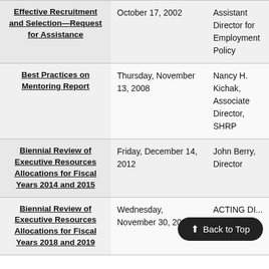| Report Title | Date | Presenter |
| --- | --- | --- |
| Effective Recruitment and Selection—Request for Assistance | October 17, 2002 | Assistant Director for Employment Policy |
| Best Practices on Mentoring Report | Thursday, November 13, 2008 | Nancy H. Kichak, Associate Director, SHRP |
| Biennial Review of Executive Resources Allocations for Fiscal Years 2014 and 2015 | Friday, December 14, 2012 | John Berry, Director |
| Biennial Review of Executive Resources Allocations for Fiscal Years 2018 and 2019 | Wednesday, November 30, 2016 | ACTING DI... F. C... |